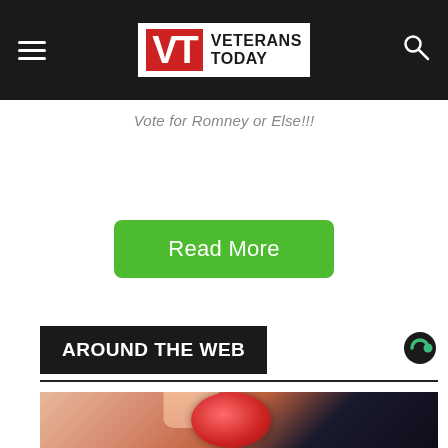Veterans Today
Vote for Romney or Else!!!
Read More
AROUND THE WEB
[Figure (photo): Close-up photo of fingers holding a red sugary gummy candy against a dark background]